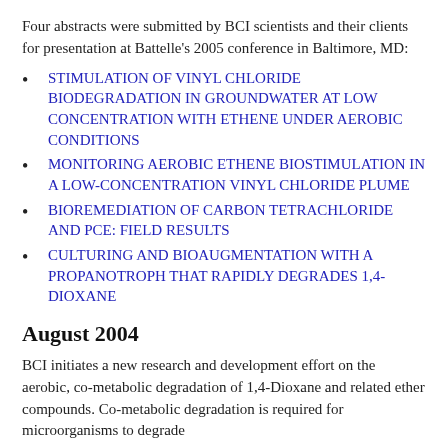Four abstracts were submitted by BCI scientists and their clients for presentation at Battelle's 2005 conference in Baltimore, MD:
STIMULATION OF VINYL CHLORIDE BIODEGRADATION IN GROUNDWATER AT LOW CONCENTRATION WITH ETHENE UNDER AEROBIC CONDITIONS
MONITORING AEROBIC ETHENE BIOSTIMULATION IN A LOW-CONCENTRATION VINYL CHLORIDE PLUME
BIOREMEDIATION OF CARBON TETRACHLORIDE AND PCE: FIELD RESULTS
CULTURING AND BIOAUGMENTATION WITH A PROPANOTROPH THAT RAPIDLY DEGRADES 1,4-DIOXANE
August 2004
BCI initiates a new research and development effort on the aerobic, co-metabolic degradation of 1,4-Dioxane and related ether compounds. Co-metabolic degradation is required for microorganisms to degrade